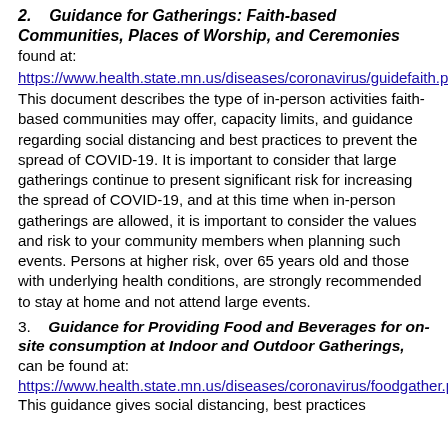2.    Guidance for Gatherings: Faith-based Communities, Places of Worship, and Ceremonies found at: https://www.health.state.mn.us/diseases/coronavirus/guidefaith.pdf This document describes the type of in-person activities faith-based communities may offer, capacity limits, and guidance regarding social distancing and best practices to prevent the spread of COVID-19. It is important to consider that large gatherings continue to present significant risk for increasing the spread of COVID-19, and at this time when in-person gatherings are allowed, it is important to consider the values and risk to your community members when planning such events. Persons at higher risk, over 65 years old and those with underlying health conditions, are strongly recommended to stay at home and not attend large events.
3.    Guidance for Providing Food and Beverages for on-site consumption at Indoor and Outdoor Gatherings, can be found at: https://www.health.state.mn.us/diseases/coronavirus/foodgather.pdf This guidance gives social distancing, best practices